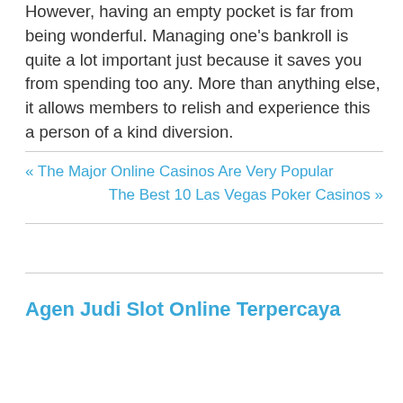However, having an empty pocket is far from being wonderful. Managing one’s bankroll is quite a lot important just because it saves you from spending too any. More than anything else, it allows members to relish and experience this a person of a kind diversion.
« The Major Online Casinos Are Very Popular
The Best 10 Las Vegas Poker Casinos »
Agen Judi Slot Online Terpercaya